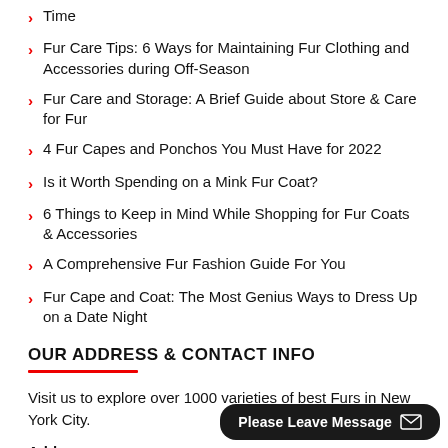Time
Fur Care Tips: 6 Ways for Maintaining Fur Clothing and Accessories during Off-Season
Fur Care and Storage: A Brief Guide about Store & Care for Fur
4 Fur Capes and Ponchos You Must Have for 2022
Is it Worth Spending on a Mink Fur Coat?
6 Things to Keep in Mind While Shopping for Fur Coats & Accessories
A Comprehensive Fur Fashion Guide For You
Fur Cape and Coat: The Most Genius Ways to Dress Up on a Date Night
OUR ADDRESS & CONTACT INFO
Visit us to explore over 1000 varieties of best Furs in New York City.
Address:
212 West 30th St. NYC, NY, 10001
Custom Support & Sales: